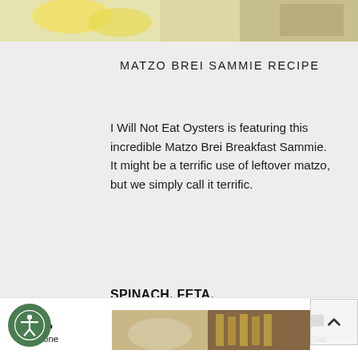[Figure (photo): Top portion of a food photo showing lemons and garnish on a light background]
MATZO BREI SAMMIE RECIPE
I Will Not Eat Oysters is featuring this incredible Matzo Brei Breakfast Sammie. It might be a terrific use of leftover matzo, but we simply call it terrific.
SPINACH, FETA,
AND ARTICHOKE MATZO MINA
[Figure (photo): Photo of a baked spinach, feta, and artichoke matzo mina dish on a serving board]
Phone  Email  Address  Chat